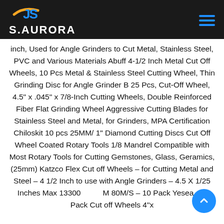S.AURORA
inch, Used for Angle Grinders to Cut Metal, Stainless Steel, PVC and Various Materials Abuff 4-1/2 Inch Metal Cut Off Wheels, 10 Pcs Metal & Stainless Steel Cutting Wheel, Thin Grinding Disc for Angle Grinder B 25 Pcs, Cut-Off Wheel, 4.5" x .045" x 7/8-Inch Cutting Wheels, Double Reinforced Fiber Flat Grinding Wheel Aggressive Cutting Blades for Stainless Steel and Metal, for Grinders, MPA Certification Chiloskit 10 pcs 25MM/ 1" Diamond Cutting Discs Cut Off Wheel Coated Rotary Tools 1/8 Mandrel Compatible with Most Rotary Tools for Cutting Gemstones, Glass, Geramics, (25mm) Katzco Flex Cut off Wheels – for Cutting Metal and Steel – 4 1/2 Inch to use with Angle Grinders – 4.5 X 1/25 Inches Max 13300 M 80M/S – 10 Pack Yesea – 5 Pack Cut off Wheels 4"x